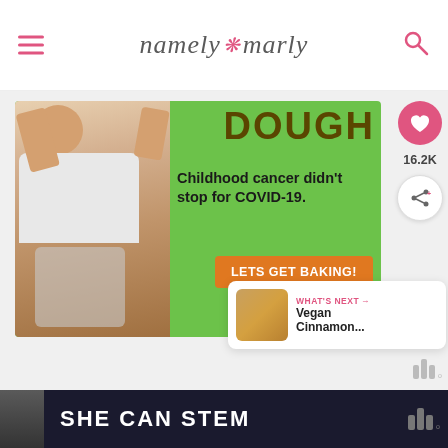namely marly
[Figure (photo): Advertisement for Cookies for Kids Cancer: green background with a child holding a jar of money, text reads 'DOUGH - Childhood cancer didn't stop for COVID-19. LETS GET BAKING! cookies for kids cancer']
16.2K
WHAT'S NEXT → Vegan Cinnamon...
SHE CAN STEM